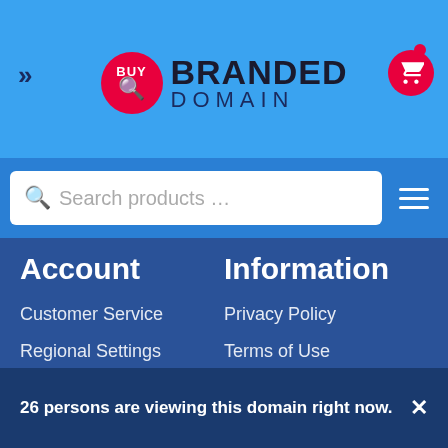[Figure (screenshot): Website header with BuyBrandedDomain logo, navigation icons, search bar and hamburger menu]
Account
Information
Customer Service
Privacy Policy
Regional Settings
Terms of Use
Create Account
F.A.Q
Login
Copyright © 2022 BuyBrandedDomain. All rights reserved.
26 persons are viewing this domain right now.